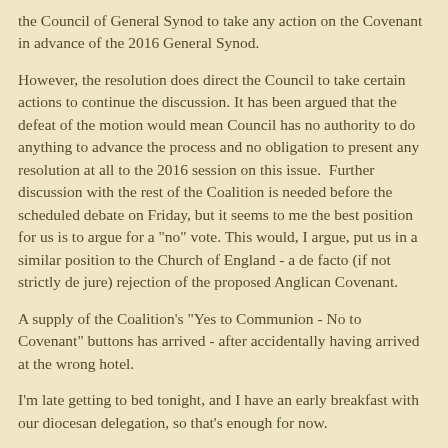the Council of General Synod to take any action on the Covenant in advance of the 2016 General Synod.
However, the resolution does direct the Council to take certain actions to continue the discussion. It has been argued that the defeat of the motion would mean Council has no authority to do anything to advance the process and no obligation to present any resolution at all to the 2016 session on this issue.  Further discussion with the rest of the Coalition is needed before the scheduled debate on Friday, but it seems to me the best position for us is to argue for a "no" vote. This would, I argue, put us in a similar position to the Church of England - a de facto (if not strictly de jure) rejection of the proposed Anglican Covenant.
A supply of the Coalition's "Yes to Communion - No to Covenant" buttons has arrived - after accidentally having arrived at the wrong hotel.
I'm late getting to bed tonight, and I have an early breakfast with our diocesan delegation, so that's enough for now.